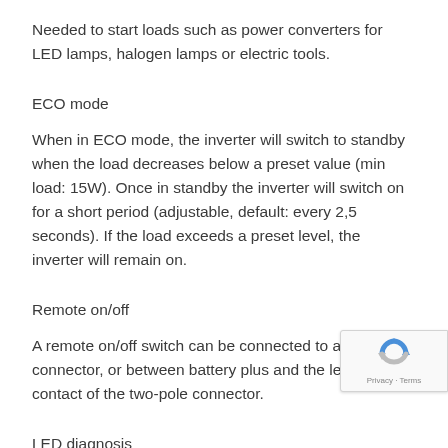Needed to start loads such as power converters for LED lamps, halogen lamps or electric tools.
ECO mode
When in ECO mode, the inverter will switch to standby when the load decreases below a preset value (min load: 15W). Once in standby the inverter will switch on for a short period (adjustable, default: every 2,5 seconds). If the load exceeds a preset level, the inverter will remain on.
Remote on/off
A remote on/off switch can be connected to a two-pole connector, or between battery plus and the left-hand contact of the two-pole connector.
LED diagnosis
[Figure (logo): Google reCAPTCHA badge in bottom-right corner showing reCAPTCHA logo with Privacy and Terms links]